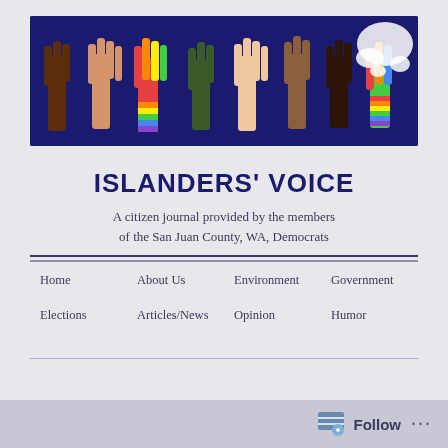[Figure (illustration): Banner image with diverse raised hands including rainbow-colored hands on dark navy background with a white silhouette of islands in the top right corner]
ISLANDERS' VOICE
A citizen journal provided by the members of the San Juan County, WA, Democrats
Home   About Us   Environment   Government   Elections   Articles/News   Opinion   Humor